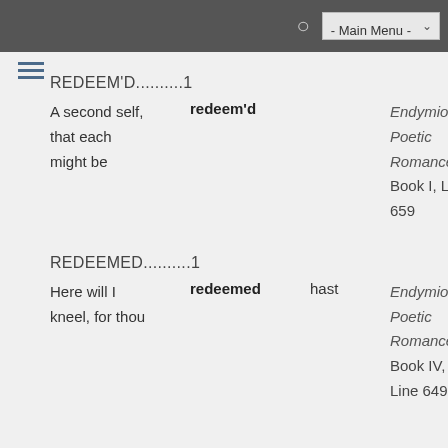- Main Menu -
REDEEM'D..........1
A second self, redeem'd that each might be
Endymion: Poetic Romance Book I, L 659
REDEEMED..........1
Here will I redeemed hast kneel, for thou
Endymion: Poetic Romance Book IV, Line 649